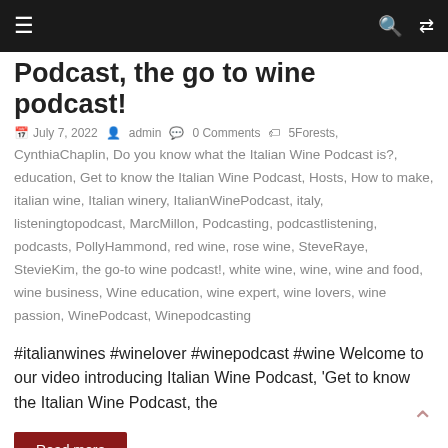≡  🔍  ⇄
Podcast, the go to wine podcast!
July 7, 2022  admin  0 Comments  5Forests, CynthiaChaplin, Do you know what the Italian Wine Podcast is?, education, Get to know the Italian Wine Podcast, Hosts, How to make, italian wine, Italian winery, ItalianWinePodcast, italy, listeningtopodcast, MarcMillon, Podcasting, podcastlistening, podcasts, PollyHammond, red wine, rose wine, SteveRaye, StevieKim, the go-to wine podcast!, white wine, wine, wine and food, wine business, Wine education, wine expert, wine lovers, wine passion, WinePodcast, Winepodcasting
#italianwines #winelover #winepodcast #wine Welcome to our video introducing Italian Wine Podcast, 'Get to know the Italian Wine Podcast, the
Read more